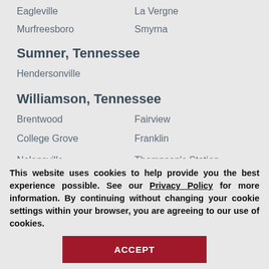Eagleville    La Vergne
Murfreesboro    Smyrna
Sumner, Tennessee
Hendersonville
Williamson, Tennessee
Brentwood    Fairview
College Grove    Franklin
Nolensville    Thompson's Station
Spring Hill
This website uses cookies to help provide you the best experience possible. See our Privacy Policy for more information. By continuing without changing your cookie settings within your browser, you are agreeing to our use of cookies.
ACCEPT